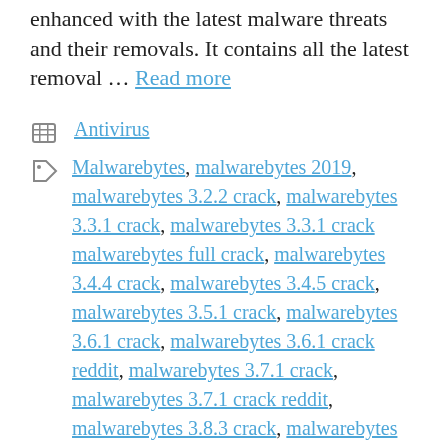enhanced with the latest malware threats and their removals. It contains all the latest removal … Read more
Categories: Antivirus
Tags: Malwarebytes, malwarebytes 2019, malwarebytes 3.2.2 crack, malwarebytes 3.3.1 crack, malwarebytes 3.3.1 crack malwarebytes full crack, malwarebytes 3.4.4 crack, malwarebytes 3.4.5 crack, malwarebytes 3.5.1 crack, malwarebytes 3.6.1 crack, malwarebytes 3.6.1 crack reddit, malwarebytes 3.7.1 crack, malwarebytes 3.7.1 crack reddit, malwarebytes 3.8.3 crack, malwarebytes activator key, Malwarebytes AdwCleaner, Malwarebytes Anti-Malware